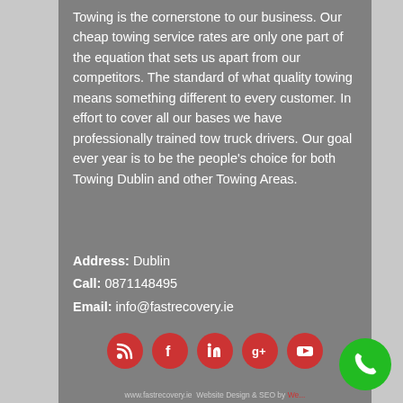Towing is the cornerstone to our business. Our cheap towing service rates are only one part of the equation that sets us apart from our competitors. The standard of what quality towing means something different to every customer. In effort to cover all our bases we have professionally trained tow truck drivers. Our goal ever year is to be the people's choice for both Towing Dublin and other Towing Areas.
Address: Dublin
Call: 0871148495
Email: info@fastrecovery.ie
[Figure (infographic): Row of five red circular social media icons: RSS feed, Facebook, LinkedIn, Google+, YouTube]
www.fastrecovery.ie Website Design & SEO by ...